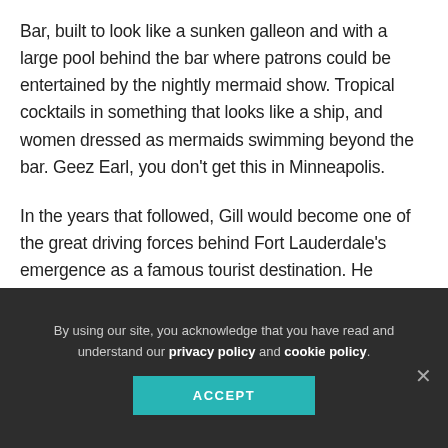Bar, built to look like a sunken galleon and with a large pool behind the bar where patrons could be entertained by the nightly mermaid show. Tropical cocktails in something that looks like a ship, and women dressed as mermaids swimming beyond the bar. Geez Earl, you don't get this in Minneapolis.
In the years that followed, Gill would become one of the great driving forces behind Fort Lauderdale's emergence as a famous tourist destination. He helped convince his friend,
By using our site, you acknowledge that you have read and understand our privacy policy and cookie policy.